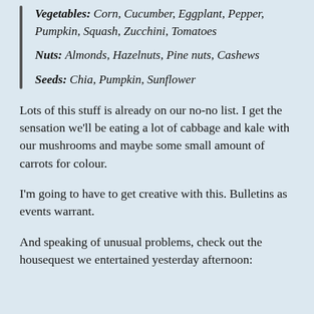Vegetables: Corn, Cucumber, Eggplant, Pepper, Pumpkin, Squash, Zucchini, Tomatoes
Nuts: Almonds, Hazelnuts, Pine nuts, Cashews
Seeds: Chia, Pumpkin, Sunflower
Lots of this stuff is already on our no-no list. I get the sensation we'll be eating a lot of cabbage and kale with our mushrooms and maybe some small amount of carrots for colour.
I'm going to have to get creative with this. Bulletins as events warrant.
And speaking of unusual problems, check out the housequest we entertained yesterday afternoon: